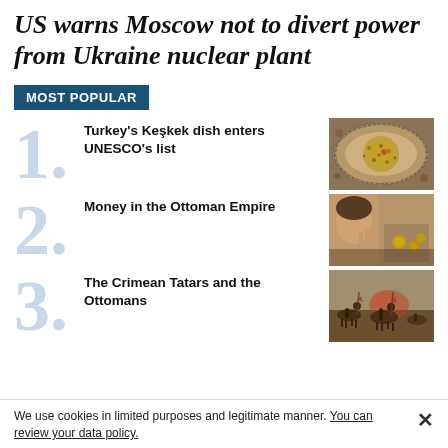US warns Moscow not to divert power from Ukraine nuclear plant
MOST POPULAR
Turkey's Keşkek dish enters UNESCO's list
[Figure (photo): A plate of Keşkek dish, a grain-based Turkish food on a decorative platter viewed from above]
Money in the Ottoman Empire
[Figure (photo): Close-up of hands working with coins or small objects, Ottoman Empire money context]
The Crimean Tatars and the Ottomans
[Figure (photo): Historical painting depicting cavalry battle scene, Crimean Tatars and Ottomans]
We use cookies in limited purposes and legitimate manner. You can review your data policy.